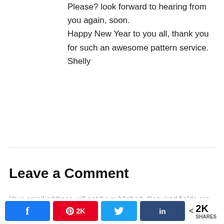Please? look forward to hearing from you again, soon.
Happy New Year to you all, thank you for such an awesome pattern service.
Shelly
Leave a Comment
Your email address will not be published. Required fields are marked *